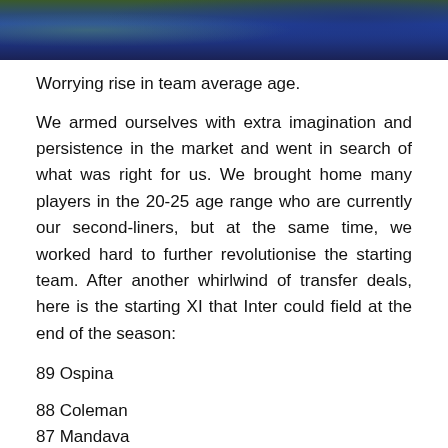[Figure (photo): Photo of people in blue Inter Milan football jerseys/jackets]
Worrying rise in team average age.
We armed ourselves with extra imagination and persistence in the market and went in search of what was right for us. We brought home many players in the 20-25 age range who are currently our second-liners, but at the same time, we worked hard to further revolutionise the starting team. After another whirlwind of transfer deals, here is the starting XI that Inter could field at the end of the season:
89 Ospina
88 Coleman
87 Mandava
88 Gustavo